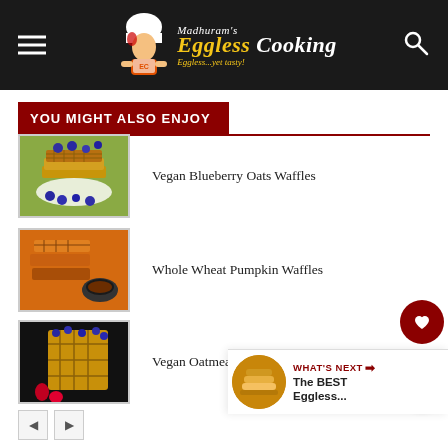[Figure (logo): Madhuram's Eggless Cooking website header with chef logo, navigation menu icon, and search icon on dark background]
YOU MIGHT ALSO ENJOY
Vegan Blueberry Oats Waffles
Whole Wheat Pumpkin Waffles
Vegan Oatmeal Raisin Waffles